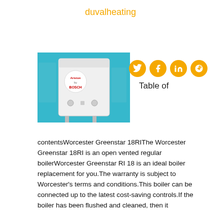duvalheating
[Figure (photo): Worcester Greenstar 18RI boiler mounted on a teal/blue wall, with Ariston/Bosch logo badge visible on the unit.]
[Figure (infographic): Four social media icons (Twitter, Facebook, LinkedIn, Google+) as gold circles with white logos.]
Table of
contentsWorcester Greenstar 18RIThe Worcester Greenstar 18RI is an open vented regular boilerWorcester Greenstar RI 18 is an ideal boiler replacement for you.The warranty is subject to Worcester's terms and conditions.This boiler can be connected up to the latest cost-saving controls.If the boiler has been flushed and cleaned, then it